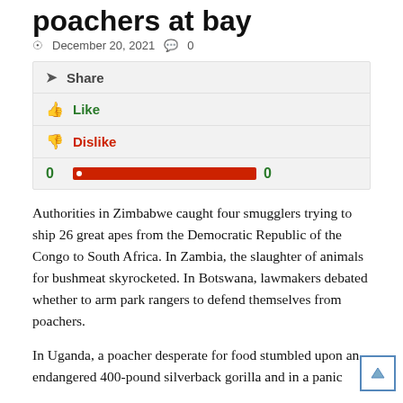poachers at bay
December 20, 2021   0
Share
Like
Dislike
0  [bar]  0
Authorities in Zimbabwe caught four smugglers trying to ship 26 great apes from the Democratic Republic of the Congo to South Africa. In Zambia, the slaughter of animals for bushmeat skyrocketed. In Botswana, lawmakers debated whether to arm park rangers to defend themselves from poachers.
In Uganda, a poacher desperate for food stumbled upon an endangered 400-pound silverback gorilla and in a panic